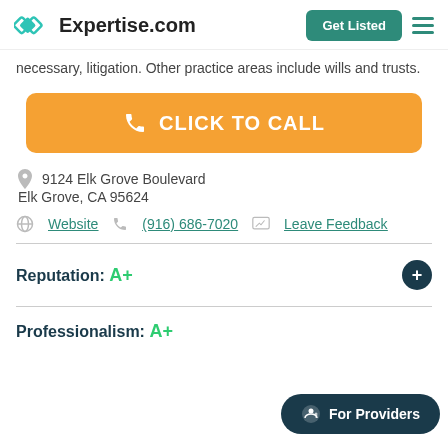Expertise.com | Get Listed
necessary, litigation. Other practice areas include wills and trusts.
CLICK TO CALL
9124 Elk Grove Boulevard
Elk Grove, CA 95624
Website  (916) 686-7020  Leave Feedback
Reputation:  A+
Professionalism:  A+
For Providers